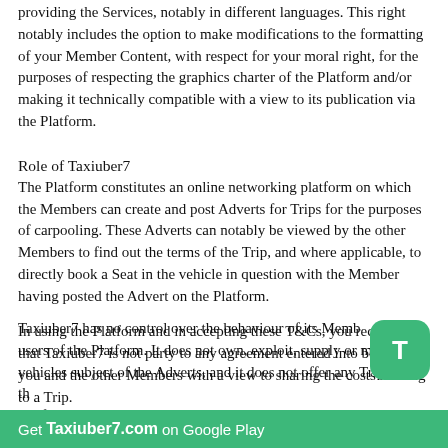providing the Services, notably in different languages. This right notably includes the option to make modifications to the formatting of your Member Content, with respect for your moral right, for the purposes of respecting the graphics charter of the Platform and/or making it technically compatible with a view to its publication via the Platform.
Role of Taxiuber7
The Platform constitutes an online networking platform on which the Members can create and post Adverts for Trips for the purposes of carpooling. These Adverts can notably be viewed by the other Members to find out the terms of the Trip, and where applicable, to directly book a Seat in the vehicle in question with the Member having posted the Advert on the Platform.
In using the Platform and in accepting these T&Cs, you recognise that Taxiuber7 is not party to any agreement entered into between you and the other Members with a view to sharing the costs relating to a Trip.
Taxiuber7 has no control over the behaviour of its Members and the users of the Platform. It does not own, exploit, supply or manage the vehicles subject of the Adverts, and it does not offer any Trips on the Platform.
Get Taxiuber7.com on Google Play